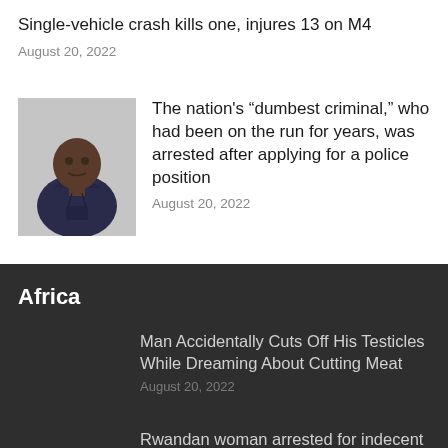Single-vehicle crash kills one, injures 13 on M4
August 20, 2022
[Figure (photo): Mugshot of a man in a dark navy hoodie]
The nation's “dumbest criminal,” who had been on the run for years, was arrested after applying for a police position
August 20, 2022
Africa
Man Accidentally Cuts Off His Testicles While Dreaming About Cutting Meat
August 20, 2022
Rwandan woman arrested for indecent dressing sentenced to two years in jail
August 20, 2022